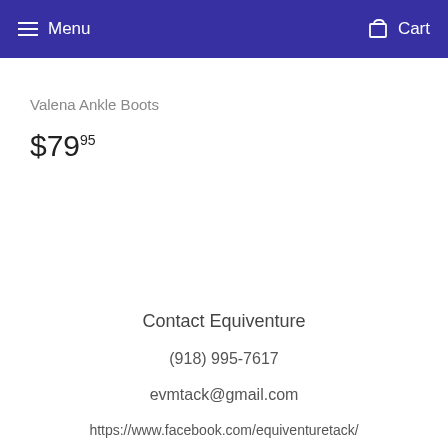Menu   Cart
Valena Ankle Boots
$79.95
Contact Equiventure
(918) 995-7617
evmtack@gmail.com
https://www.facebook.com/equiventuretack/